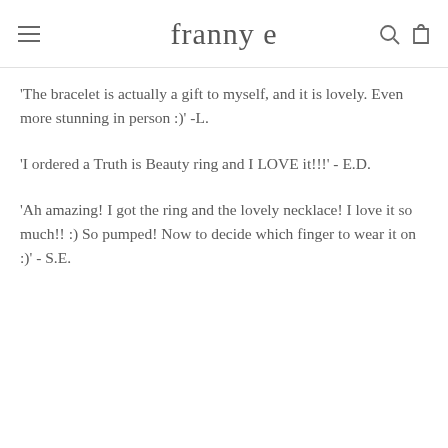franny e
'The bracelet is actually a gift to myself, and it is lovely. Even more stunning in person :)' -L.
'I ordered a Truth is Beauty ring and I LOVE it!!!' - E.D.
'Ah amazing! I got the ring and the lovely necklace! I love it so much!! :) So pumped! Now to decide which finger to wear it on :)' - S.E.